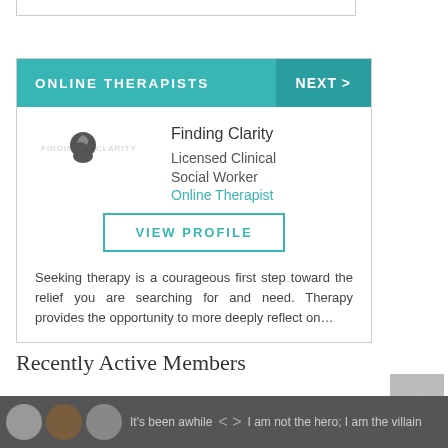[Figure (screenshot): Online Therapists card with Finding Clarity therapist profile, including logo, name, title, Online Therapist link, VIEW PROFILE button, and description text.]
Recently Active Members
It's been awhile  <  >  I am not the hero; I am the villain